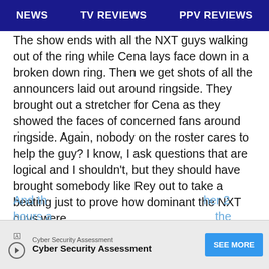NEWS   TV REVIEWS   PPV REVIEWS
The show ends with all the NXT guys walking out of the ring while Cena lays face down in a broken down ring. Then we get shots of all the announcers laid out around ringside. They brought out a stretcher for Cena as they showed the faces of concerned fans around ringside. Again, nobody on the roster cares to help the guy? I know, I ask questions that are logical and I shouldn't, but they should have brought somebody like Rey out to take a beating just to prove how dominant the NXT guys were.
How many times has Cena done the stretcher job? Doesn't happen much. They really put over the NXT guys with that. It's not enough to save the show, but it makes you curious as to what's coming next week.
And th… her 2 hours a… the
[Figure (other): Advertisement banner: Cyber Security Assessment with SEE MORE button]